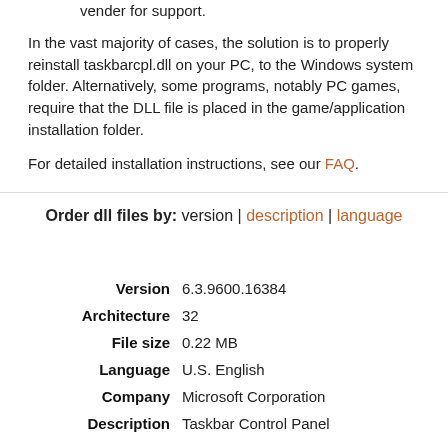vender for support.
In the vast majority of cases, the solution is to properly reinstall taskbarcpl.dll on your PC, to the Windows system folder. Alternatively, some programs, notably PC games, require that the DLL file is placed in the game/application installation folder.
For detailed installation instructions, see our FAQ.
Order dll files by:  version | description | language
| Field | Value |
| --- | --- |
| Version | 6.3.9600.16384 |
| Architecture | 32 |
| File size | 0.22 MB |
| Language | U.S. English |
| Company | Microsoft Corporation |
| Description | Taskbar Control Panel |